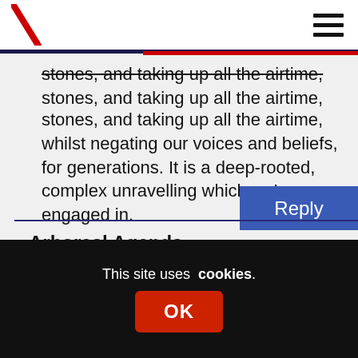stones, and taking up all the airtime, whilst negating our voices and beliefs, for generations. It is a deep-rooted, complex unravelling which we're engaged in.
Reply
Arboreal Agenda
15th December 2019 at 5:14 pm
In what way do I, living in Yorkshire, oppress anyone in Scotland or the
This site uses cookies. OK